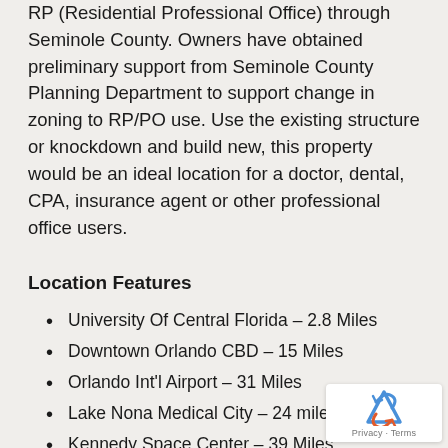RP (Residential Professional Office) through Seminole County. Owners have obtained preliminary support from Seminole County Planning Department to support change in zoning to RP/PO use. Use the existing structure or knockdown and build new, this property would be an ideal location for a doctor, dental, CPA, insurance agent or other professional office users.
Location Features
University Of Central Florida – 2.8 Miles
Downtown Orlando CBD – 15 Miles
Orlando Int'l Airport – 31 Miles
Lake Nona Medical City – 24 miles
Kennedy Space Center – 39 Miles